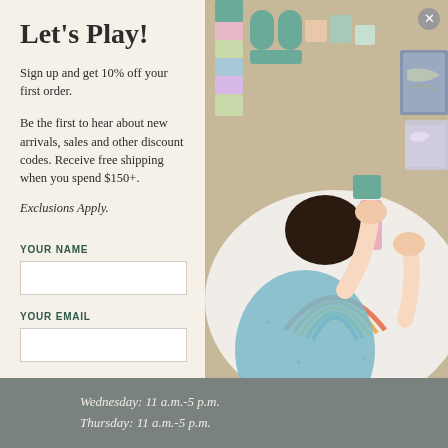Let's Play!
Sign up and get 10% off your first order.
Be the first to hear about new arrivals, sales and other discount codes. Receive free shipping when you spend $150+.
Exclusions Apply.
YOUR NAME
YOUR EMAIL
JOIN NOW
[Figure (photo): Overhead view of a child playing with pastel-colored wooden building blocks on a rainbow-themed play mat, with illustrated books visible on the right side.]
Wednesday: 11 a.m.-5 p.m.
Thursday: 11 a.m.-5 p.m.